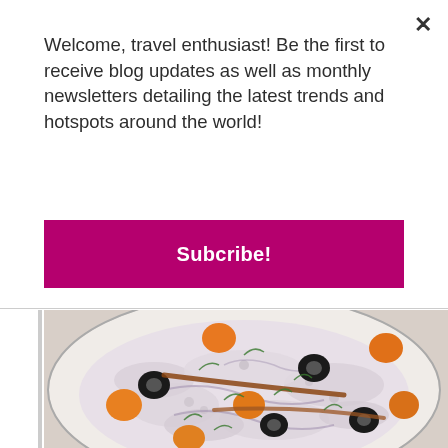Welcome, travel enthusiast! Be the first to receive blog updates as well as monthly newsletters detailing the latest trends and hotspots around the world!
Subcribe!
[Figure (photo): A plate of seafood dish featuring octopus/squid slices garnished with black olive rings, orange cherry tomatoes, anchovies, and chopped green herbs on a white plate.]